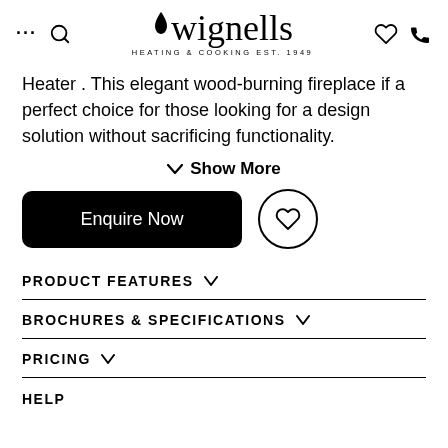wignells HEATING & COOKING EST. 1949
Heater . This elegant wood-burning fireplace if a perfect choice for those looking for a design solution without sacrificing functionality.
Show More
Enquire Now
PRODUCT FEATURES
BROCHURES & SPECIFICATIONS
PRICING
HELP